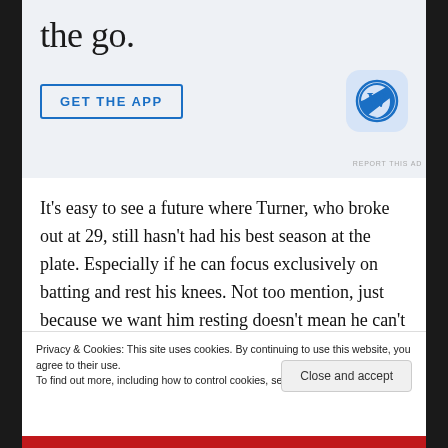[Figure (screenshot): WordPress app advertisement banner with 'the go.' text, GET THE APP button, and WordPress logo icon on light blue background]
REPORT THIS AD
It's easy to see a future where Turner, who broke out at 29, still hasn't had his best season at the plate. Especially if he can focus exclusively on batting and rest his knees. Not too mention, just because we want him resting doesn't mean he can't still play 3B or 1B in a pinch.
Privacy & Cookies: This site uses cookies. By continuing to use this website, you agree to their use.
To find out more, including how to control cookies, see here: Cookie Policy
Close and accept